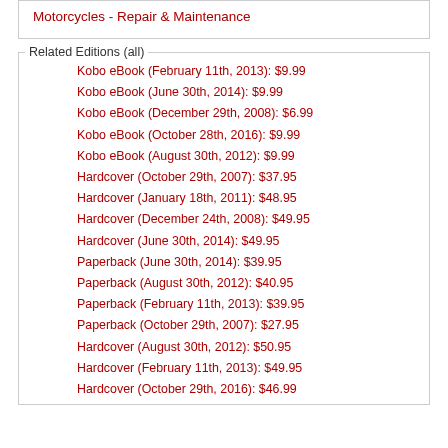Motorcycles - Repair & Maintenance
Related Editions (all)
Kobo eBook (February 11th, 2013): $9.99
Kobo eBook (June 30th, 2014): $9.99
Kobo eBook (December 29th, 2008): $6.99
Kobo eBook (October 28th, 2016): $9.99
Kobo eBook (August 30th, 2012): $9.99
Hardcover (October 29th, 2007): $37.95
Hardcover (January 18th, 2011): $48.95
Hardcover (December 24th, 2008): $49.95
Hardcover (June 30th, 2014): $49.95
Paperback (June 30th, 2014): $39.95
Paperback (August 30th, 2012): $40.95
Paperback (February 11th, 2013): $39.95
Paperback (October 29th, 2007): $27.95
Hardcover (August 30th, 2012): $50.95
Hardcover (February 11th, 2013): $49.95
Hardcover (October 29th, 2016): $46.99